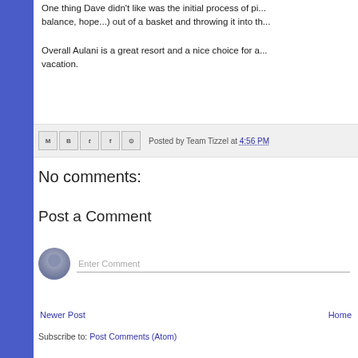One thing Dave didn't like was the initial process of pi... balance, hope...) out of a basket and throwing it into th...
Overall Aulani is a great resort and a nice choice for a... vacation.
Posted by Team Tizzel at 4:56 PM
No comments:
Post a Comment
Enter Comment
Newer Post
Home
Subscribe to: Post Comments (Atom)